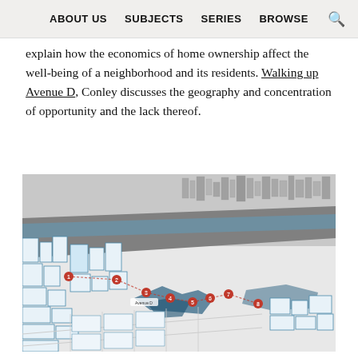ABOUT US   SUBJECTS   SERIES   BROWSE
explain how the economics of home ownership affect the well-being of a neighborhood and its residents. Walking up Avenue D, Conley discusses the geography and concentration of opportunity and the lack thereof.
[Figure (map): 3D isometric aerial map illustration of an urban neighborhood along a waterway, showing city blocks with blue-outlined buildings, a river or canal running diagonally through the center, with numbered red location markers (1-8) along a route, and highlighted blue shaded areas near the water.]